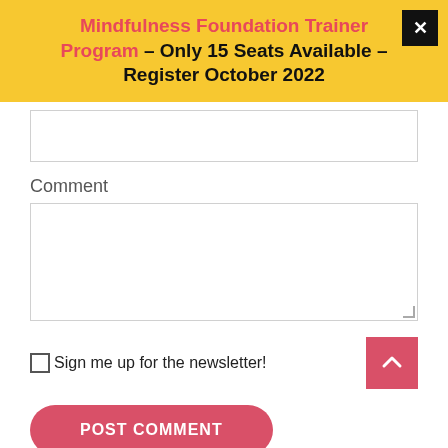Mindfulness Foundation Trainer Program – Only 15 Seats Available – Register October 2022
Comment
Sign me up for the newsletter!
POST COMMENT